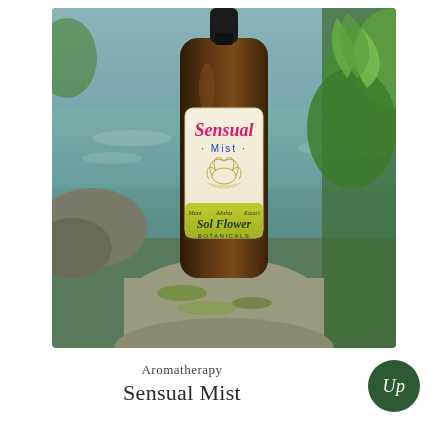[Figure (photo): A dark amber glass bottle with a black dropper cap labeled 'Sensual Mist' by Sol Flower Botanicals, sitting on mossy rocks next to a stream with green foliage in the background. The bottle label is cream/white with pink gothic lettering for 'Sensual', blue text for 'Mist', a lotus flower illustration, and a yellow-green band at the bottom reading 'Sol Flower Botanicals' with 'Aloha', 'Maui', 'Kaua'i' text.]
Aromatherapy
Sensual Mist
[Figure (logo): Dark green circle badge with 'Up' text in white italic serif font]